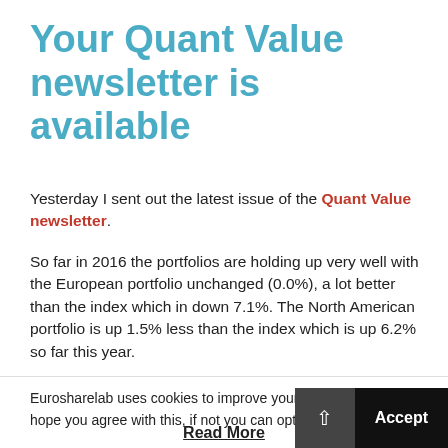Your Quant Value newsletter is available
Yesterday I sent out the latest issue of the Quant Value newsletter.
So far in 2016 the portfolios are holding up very well with the European portfolio unchanged (0.0%), a lot better than the index which in down 7.1%. The North American portfolio is up 1.5% less than the index which is up 6.2% so far this year.
Eurosharelab uses cookies to improve your experience. We hope you agree with this, if not you can opt-out at any time.
Read More